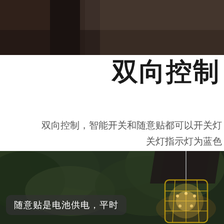[Figure (photo): Dark indoor photo showing partial view of a room, top portion of the page]
双向控制
双向控制，智能开关和随意贴都可以开关灯
关灯指示灯为蓝色
[Figure (photo): Outdoor night scene with a hanging vintage lantern with gold wire cage, surrounded by green foliage]
随意贴是电池供电，平时